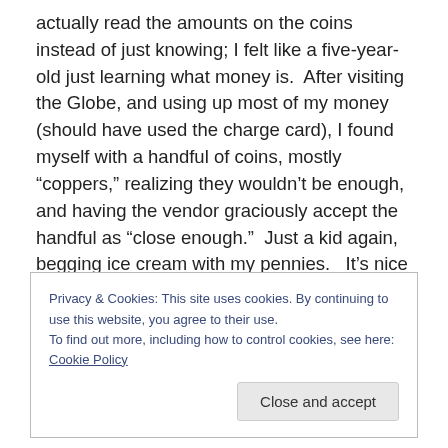actually read the amounts on the coins instead of just knowing; I felt like a five-year-old just learning what money is.  After visiting the Globe, and using up most of my money (should have used the charge card), I found myself with a handful of coins, mostly “coppers,” realizing they wouldn’t be enough, and having the vendor graciously accept the handful as “close enough.”  Just a kid again, begging ice cream with my pennies.   It’s nice when people are so kind and gracious.   Of course, a trip to the ATM restored my purchasing power.
Privacy & Cookies: This site uses cookies. By continuing to use this website, you agree to their use.
To find out more, including how to control cookies, see here: Cookie Policy